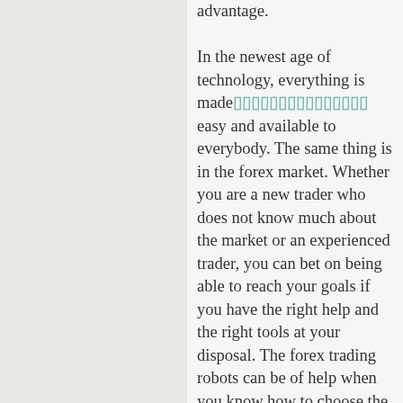advantage.

In the newest age of technology, everything is made [link] easy and available to everybody. The same thing is in the forex market. Whether you are a new trader who does not know much about the market or an experienced trader, you can bet on being able to reach your goals if you have the right help and the right tools at your disposal. The forex trading robots can be of help when you know how to choose the right kind of software to use and how to install it to your computer and let it run. It is just so easy to use these forex...